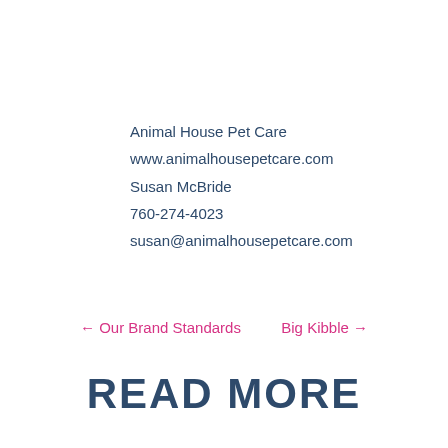Animal House Pet Care
www.animalhousepetcare.com
Susan McBride
760-274-4023
susan@animalhousepetcare.com
← Our Brand Standards
Big Kibble →
READ MORE